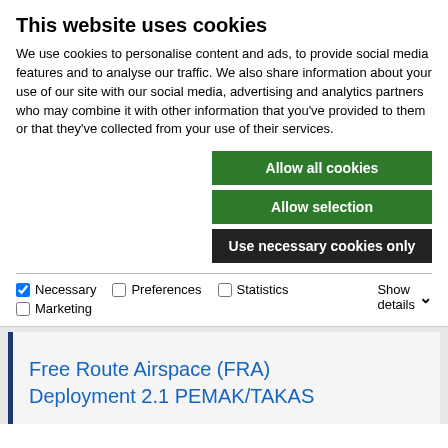This website uses cookies
We use cookies to personalise content and ads, to provide social media features and to analyse our traffic. We also share information about your use of our site with our social media, advertising and analytics partners who may combine it with other information that you've provided to them or that they've collected from your use of their services.
Allow all cookies
Allow selection
Use necessary cookies only
Necessary  Preferences  Statistics  Marketing  Show details
Closed 15 March 2021
Free Route Airspace (FRA) Deployment 2.1 PEMAK/TAKAS